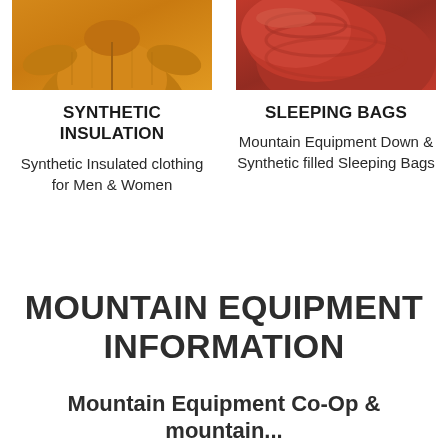[Figure (photo): Orange/yellow synthetic insulation jacket photographed from waist up, cropped at top]
[Figure (photo): Red sleeping bag photographed closely, cropped at top]
SYNTHETIC INSULATION
Synthetic Insulated clothing for Men & Women
SLEEPING BAGS
Mountain Equipment Down & Synthetic filled Sleeping Bags
MOUNTAIN EQUIPMENT INFORMATION
Mountain Equipment Co-Op &amp; mountain...